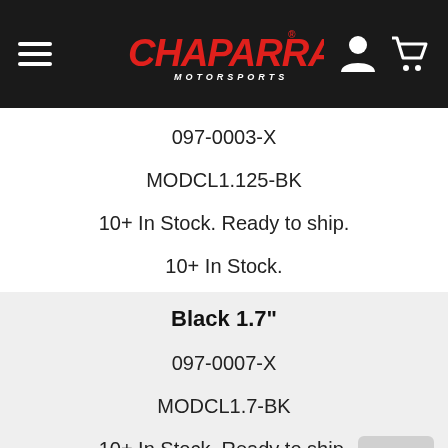Chaparral Motorsports
097-0003-X
MODCL1.125-BK
10+ In Stock. Ready to ship.
10+ In Stock.
Black 1.7"
097-0007-X
MODCL1.7-BK
10+ In Stock. Ready to ship.
4 In Stock.